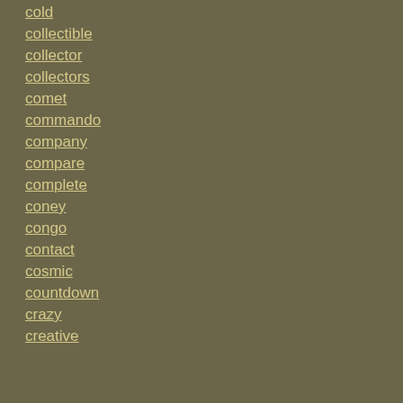cold
collectible
collector
collectors
comet
commando
company
compare
complete
coney
congo
contact
cosmic
countdown
crazy
creative